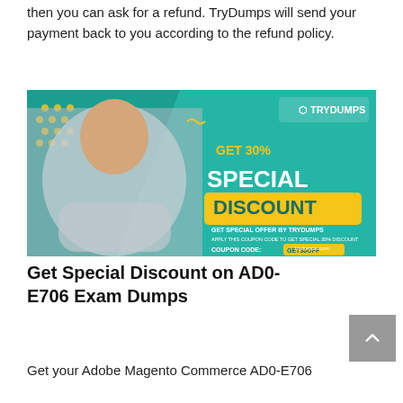then you can ask for a refund. TryDumps will send your payment back to you according to the refund policy.
[Figure (illustration): TryDumps promotional banner showing a smiling professional man in a suit with teal background, text reading GET 30% SPECIAL DISCOUNT, GET SPECIAL OFFER BY TRYDUMPS, APPLY THIS COUPON CODE TO GET SPECIAL 30% DISCOUNT, COUPON CODE: GET30OFF, SHOP NOW!, trydumps.com]
Get Special Discount on AD0-E706 Exam Dumps
Get your Adobe Magento Commerce AD0-E706